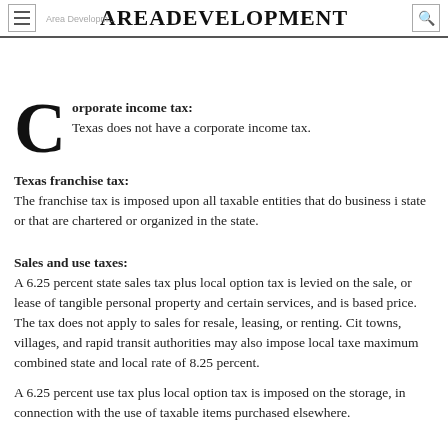AreaDevelopment
Corporate income tax: Texas does not have a corporate income tax.
Texas franchise tax:
The franchise tax is imposed upon all taxable entities that do business in the state or that are chartered or organized in the state.
Sales and use taxes:
A 6.25 percent state sales tax plus local option tax is levied on the sale, or lease of tangible personal property and certain services, and is based price. The tax does not apply to sales for resale, leasing, or renting. Cities, towns, villages, and rapid transit authorities may also impose local taxes, maximum combined state and local rate of 8.25 percent.
A 6.25 percent use tax plus local option tax is imposed on the storage, in connection with the use of taxable items purchased elsewhere.